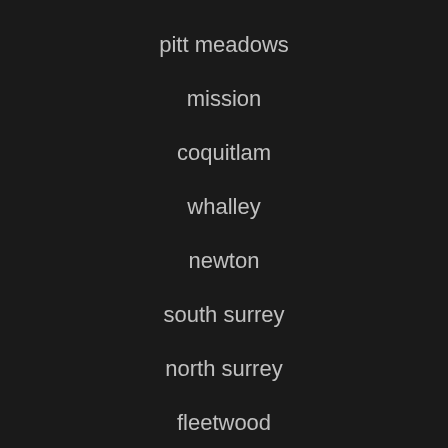pitt meadows
mission
coquitlam
whalley
newton
south surrey
north surrey
fleetwood
strawberry hill
scott road